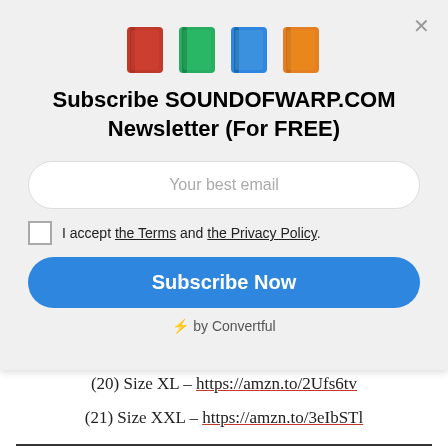[Figure (illustration): Four colored book icons: red, green, blue, orange]
Subscribe SOUNDOFWARP.COM Newsletter (For FREE)
Your best email
I accept the Terms and the Privacy Policy.
Subscribe Now
⚡ by Convertful
(20) Size XL – https://amzn.to/2Ufs6tv
(21) Size XXL – https://amzn.to/3eIbSTl
VIDUSHIS WOMEN